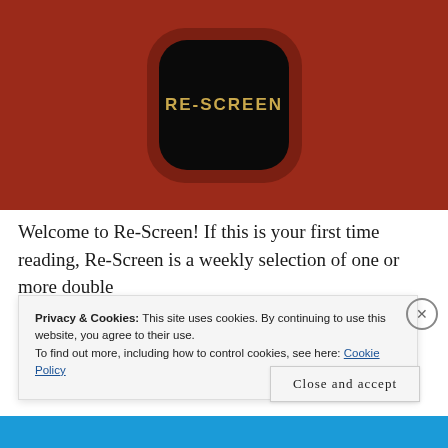[Figure (logo): Re-Screen app logo: dark red/crimson background with a rounded square shadow shape, containing a black rounded square with gold uppercase text 'RE-SCREEN']
Welcome to Re-Screen! If this is your first time reading, Re-Screen is a weekly selection of one or more double
Privacy & Cookies: This site uses cookies. By continuing to use this website, you agree to their use.
To find out more, including how to control cookies, see here: Cookie Policy
Close and accept